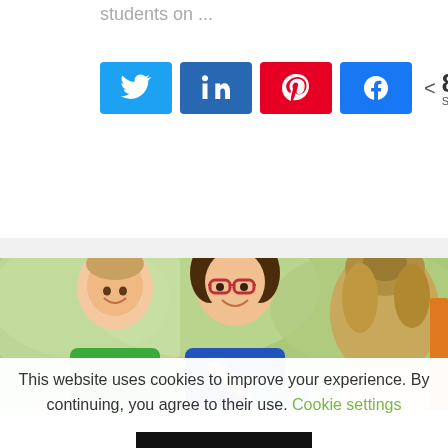students on ...
[Figure (other): Social sharing buttons: Twitter, LinkedIn, Pinterest, Facebook with 86 SHARES count]
Continue reading >
[Figure (photo): Classroom photo: a teacher with glasses smiling, a boy in green shirt, and a girl, looking at a globe together]
This website uses cookies to improve your experience. By continuing, you agree to their use. Cookie settings
ACCEPT